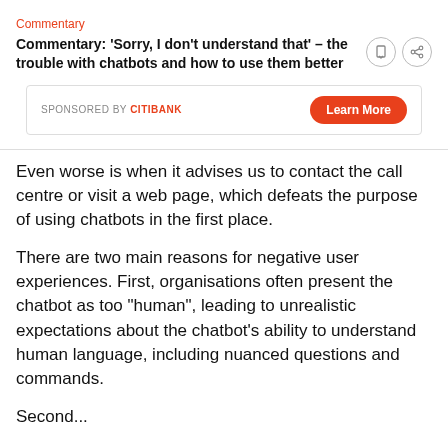Commentary
Commentary: ‘Sorry, I don’t understand that’ – the trouble with chatbots and how to use them better
SPONSORED BY CITIBANK
Even worse is when it advises us to contact the call centre or visit a web page, which defeats the purpose of using chatbots in the first place.
There are two main reasons for negative user experiences. First, organisations often present the chatbot as too “human”, leading to unrealistic expectations about the chatbot’s ability to understand human language, including nuanced questions and commands.
Second...